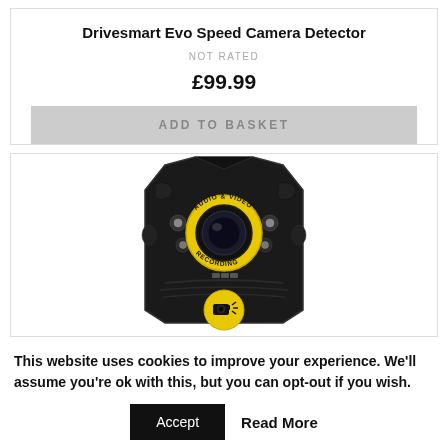Drivesmart Evo Speed Camera Detector
NOT RATED
£99.99
ADD TO BASKET
[Figure (photo): Front view of a Drivesmart Evo speed camera detector device — black rugged body with yellow circular 'AUDIO & VIDEO RECORDING' label around the lens, and a yellow speed camera warning badge at the bottom.]
This website uses cookies to improve your experience. We'll assume you're ok with this, but you can opt-out if you wish.
Accept
Read More